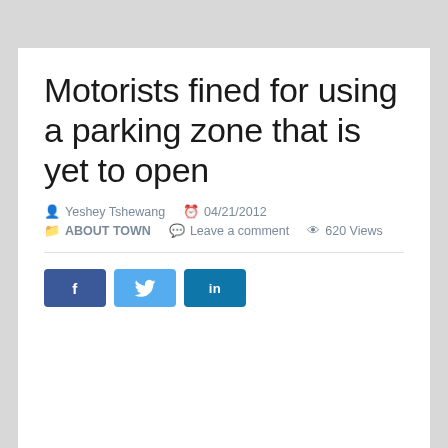Motorists fined for using a parking zone that is yet to open
Yeshey Tshewang   04/21/2012   ABOUT TOWN   Leave a comment   620 Views
[Figure (other): Social sharing buttons: Facebook (f), Twitter (bird icon), LinkedIn (in)]